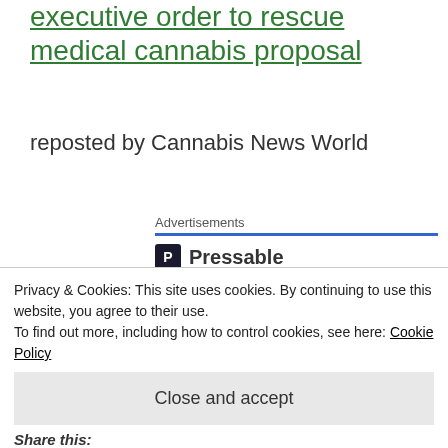executive order to rescue medical cannabis proposal
reposted by Cannabis News World
[Figure (other): Pressable advertisement banner with logo and 'The Platform Where WordPress' text]
Privacy & Cookies: This site uses cookies. By continuing to use this website, you agree to their use. To find out more, including how to control cookies, see here: Cookie Policy
Close and accept
Share this: